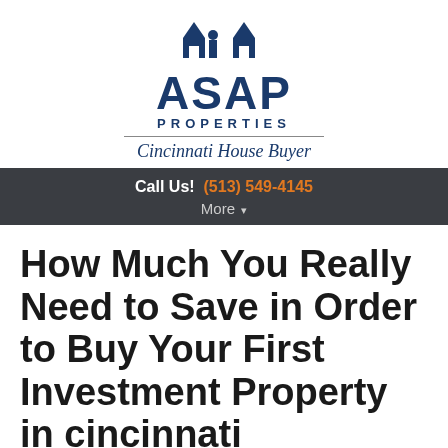[Figure (logo): ASAP Properties logo with house icon, blue text reading ASAP PROPERTIES, divider line, and tagline Cincinnati House Buyer]
Call Us! (513) 549-4145
More
How Much You Really Need to Save in Order to Buy Your First Investment Property in cincinnati